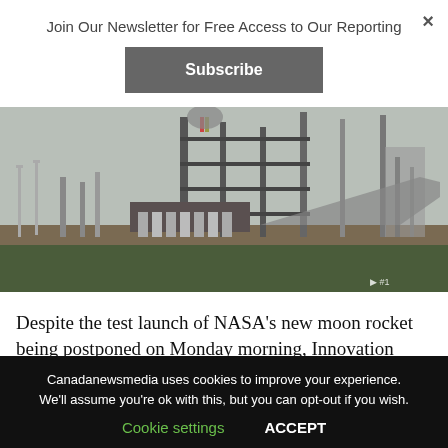×
Join Our Newsletter for Free Access to Our Reporting
Subscribe
[Figure (photo): NASA rocket launch pad with scaffolding and industrial structures against an overcast sky, wide angle ground-level view]
Despite the test launch of NASA's new moon rocket being postponed on Monday morning, Innovation
Canadanewsmedia uses cookies to improve your experience. We'll assume you're ok with this, but you can opt-out if you wish.
Cookie settings
ACCEPT